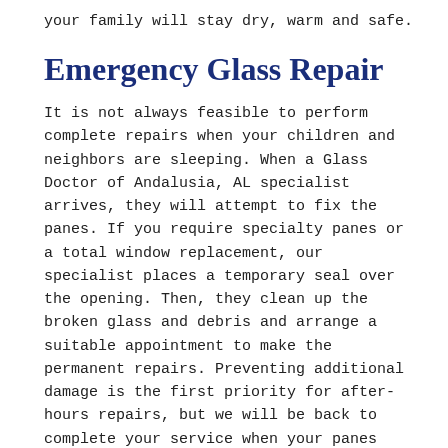your family will stay dry, warm and safe.
Emergency Glass Repair
It is not always feasible to perform complete repairs when your children and neighbors are sleeping. When a Glass Doctor of Andalusia, AL specialist arrives, they will attempt to fix the panes. If you require specialty panes or a total window replacement, our specialist places a temporary seal over the opening. Then, they clean up the broken glass and debris and arrange a suitable appointment to make the permanent repairs. Preventing additional damage is the first priority for after-hours repairs, but we will be back to complete your service when your panes arrive.
Safety and comfort should never have to wait on